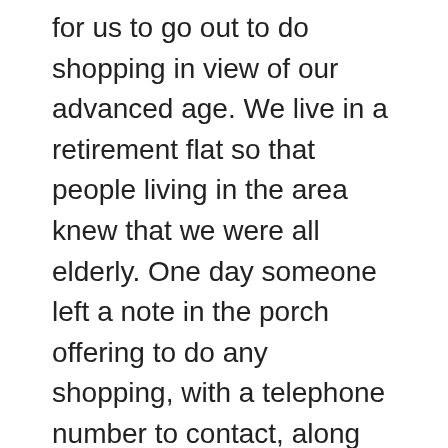for us to go out to do shopping in view of our advanced age.  We live in a retirement flat so that people living in the area knew that we were all elderly.  One day someone left a note in the porch offering to do any shopping, with a telephone number to contact, along with a name.  This name sounded Italian, and as my husband speaks Italian and loves to speak it whenever possible he got in contact.

We found that the name was that of a young lady, Silvina, from a family who were originally Italian, but she speaks Spanish!  However, she and her partner, Mary, were very happy to help with